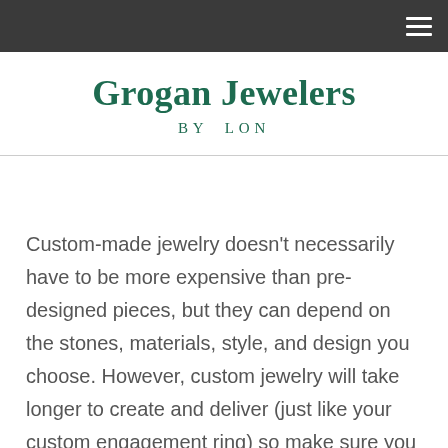Grogan Jewelers BY LON
Custom-made jewelry doesn't necessarily have to be more expensive than pre-designed pieces, but they can depend on the stones, materials, style, and design you choose. However, custom jewelry will take longer to create and deliver (just like your custom engagement ring) so make sure you allow yourself plenty of time to avoid any